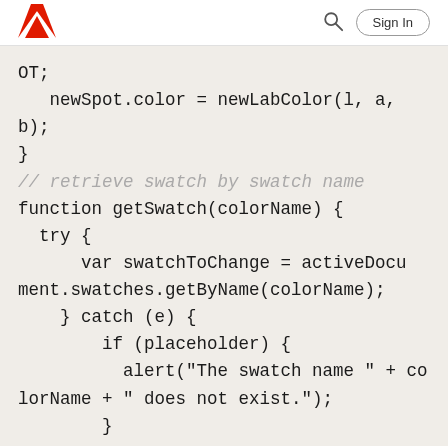Adobe | Sign In
OT;
   newSpot.color = newLabColor(l, a,
b);
}
// retrieve swatch by swatch name
function getSwatch(colorName) {
  try {
      var swatchToChange = activeDocument.swatches.getByName(colorName);
    } catch (e) {
        if (placeholder) {
          alert("The swatch name " + colorName + " does not exist.");
        }